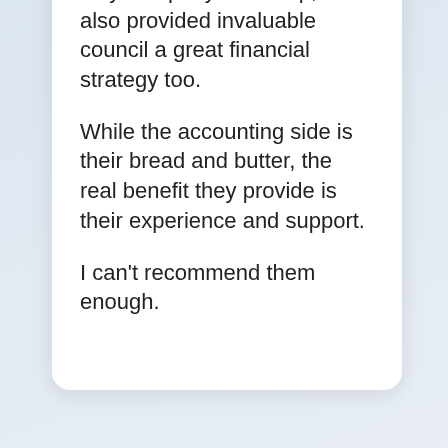only setup my new corp, but also provided invaluable council a great financial strategy too.
While the accounting side is their bread and butter, the real benefit they provide is their experience and support.
I can't recommend them enough.